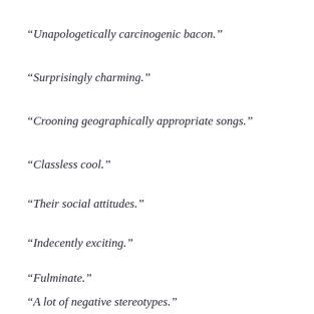“Unapologetically carcinogenic bacon.”
“Surprisingly charming.”
“Crooning geographically appropriate songs.”
“Classless cool.”
“Their social attitudes.”
“Indecently exciting.”
“Fulminate.”
“A lot of negative stereotypes.”